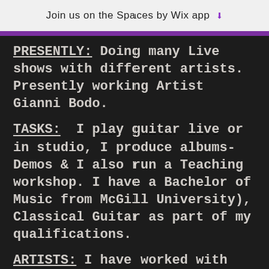Join us on the Spaces by Wix app
PRESENTLY: Doing many Live shows with different artists. Presently working Artist Gianni Bodo.
TASKS: I play guitar live or in studio, I produce albums-Demos & I also run a Teaching workshop. I have a Bachelor of Music from McGill University), Classical Guitar as part of my qualifications.
ARTISTS: I have worked with varied artists notably: Quebec Icon "MITSOU" , Bran Van3000, Mario Pelchat, Martine St